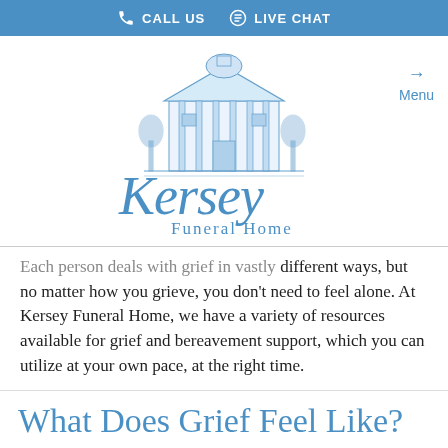CALL US   LIVE CHAT
[Figure (logo): Kersey Funeral Home logo with script text and building illustration in blue]
Each person deals with grief in vastly different ways, but no matter how you grieve, you don't need to feel alone. At Kersey Funeral Home, we have a variety of resources available for grief and bereavement support, which you can utilize at your own pace, at the right time.
What Does Grief Feel Like?